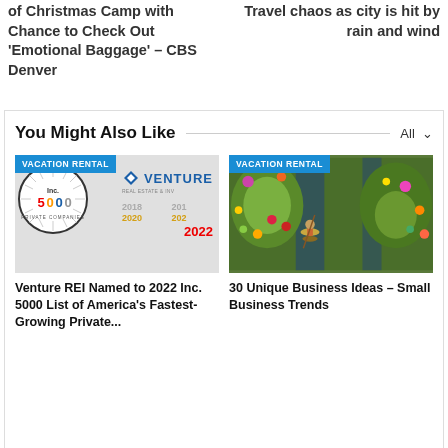of Christmas Camp with Chance to Check Out 'Emotional Baggage' – CBS Denver
Travel chaos as city is hit by rain and wind
You Might Also Like
[Figure (screenshot): Card with VACATION RENTAL badge, Inc. 5000 and Venture REI logos with years 2018, 2019, 2020, 2021, 2022 shown]
Venture REI Named to 2022 Inc. 5000 List of America's Fastest-Growing Private...
[Figure (photo): Aerial view of floating market with colorful vegetables and flowers, person in boat wearing conical hat]
30 Unique Business Ideas – Small Business Trends